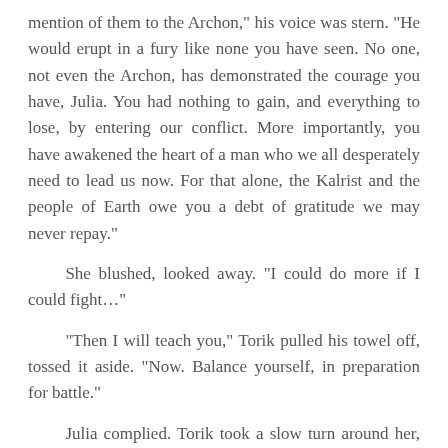mention of them to the Archon," his voice was stern. "He would erupt in a fury like none you have seen. No one, not even the Archon, has demonstrated the courage you have, Julia. You had nothing to gain, and everything to lose, by entering our conflict. More importantly, you have awakened the heart of a man who we all desperately need to lead us now. For that alone, the Kalrist and the people of Earth owe you a debt of gratitude we may never repay."
She blushed, looked away. "I could do more if I could fight…"
"Then I will teach you," Torik pulled his towel off, tossed it aside. "Now. Balance yourself, in preparation for battle."
Julia complied. Torik took a slow turn around her, murmuring to himself. "Not bad. Shift your feet a fraction- very good. Now, watch what I do, then do it yourself."